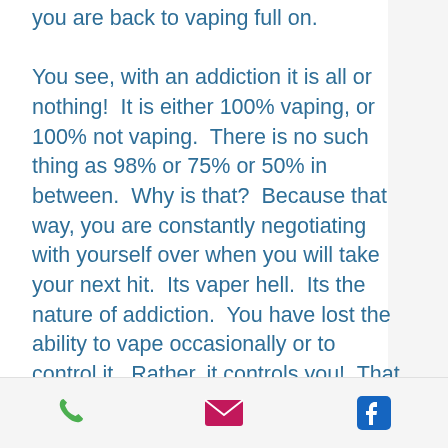you are back to vaping full on.

You see, with an addiction it is all or nothing!  It is either 100% vaping, or 100% not vaping.  There is no such thing as 98% or 75% or 50% in between.  Why is that?  Because that way, you are constantly negotiating with yourself over when you will take your next hit.  Its vaper hell.  Its the nature of addiction.  You have lost the ability to vape occasionally or to control it.  Rather, it controls you!  That is what it means to be powerless.  Once you take that first hit, the obsession to chase the next hit kicks in, and you must answer the call.
phone | email | facebook icons